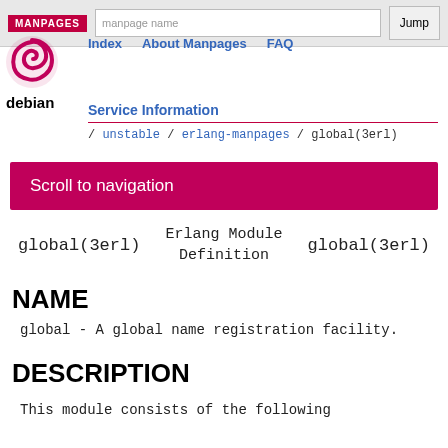MANPAGES
Index  About Manpages  FAQ
[Figure (logo): Debian swirl logo with 'debian' text below]
Service Information
/ unstable / erlang-manpages / global(3erl)
Scroll to navigation
global(3erl)   Erlang Module Definition   global(3erl)
NAME
global - A global name registration facility.
DESCRIPTION
This module consists of the following